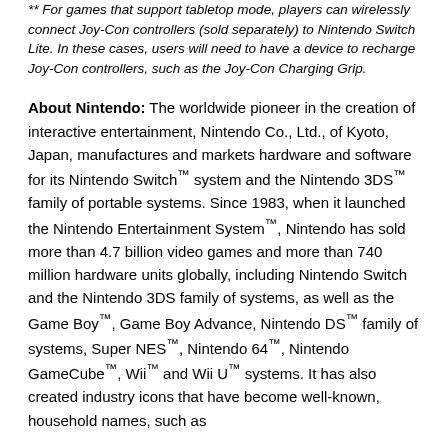** For games that support tabletop mode, players can wirelessly connect Joy-Con controllers (sold separately) to Nintendo Switch Lite. In these cases, users will need to have a device to recharge Joy-Con controllers, such as the Joy-Con Charging Grip.
About Nintendo: The worldwide pioneer in the creation of interactive entertainment, Nintendo Co., Ltd., of Kyoto, Japan, manufactures and markets hardware and software for its Nintendo Switch™ system and the Nintendo 3DS™ family of portable systems. Since 1983, when it launched the Nintendo Entertainment System™, Nintendo has sold more than 4.7 billion video games and more than 740 million hardware units globally, including Nintendo Switch and the Nintendo 3DS family of systems, as well as the Game Boy™, Game Boy Advance, Nintendo DS™ family of systems, Super NES™, Nintendo 64™, Nintendo GameCube™, Wii™ and Wii U™ systems. It has also created industry icons that have become well-known, household names, such as